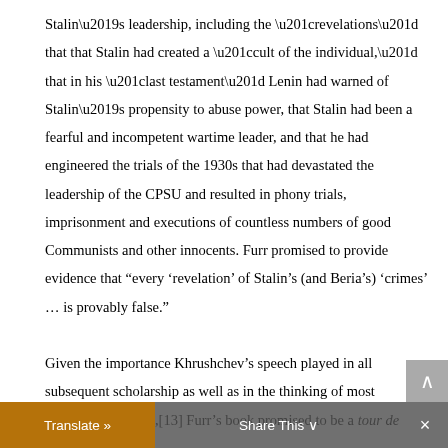Stalin’s leadership, including the “revelations” that that Stalin had created a “cult of the individual,” that in his “last testament” Lenin had warned of Stalin’s propensity to abuse power, that Stalin had been a fearful and incompetent wartime leader, and that he had engineered the trials of the 1930s that had devastated the leadership of the CPSU and resulted in phony trials, imprisonment and executions of countless numbers of good Communists and other innocents. Furr promised to provide evidence that “every ‘revelation’ of Stalin’s (and Beria’s) ‘crimes’ … is provably false.”
Given the importance Khrushchev’s speech played in all subsequent scholarship as well as in the thinking of most Communist parties,[13] Furr’s book promised to be a tour de force orical and political implications. This turned out
Translate » | Share This ∨ | ×